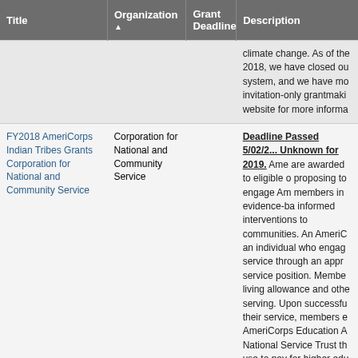| Title | Organization ▲ | Grant Deadline | Description |
| --- | --- | --- | --- |
|  |  |  | climate change. As of the 2018, we have closed ou system, and we have mo invitation-only grantmaki website for more informa |
| FY2018 AmeriCorps Indian Tribes Grants Corporation for National and Community Service | Corporation for National and Community Service |  | Deadline Passed 5/02/2... Unknown for 2019. Ame are awarded to eligible o proposing to engage Am members in evidence-ba informed interventions to communities. An AmeriC an individual who engag service through an appr service position. Membe living allowance and othe serving. Upon successfu their service, members e AmeriCorps Education A National Service Trust th use to pay for higher edu or apply to qualified stu |